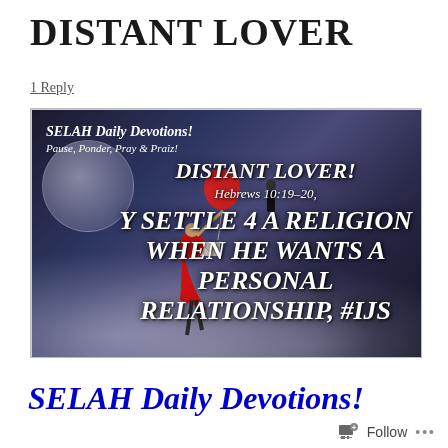DISTANT LOVER
1 Reply
[Figure (photo): Devotional banner image with dark cloudy night sky background. A woman in a red dress reaches up toward a red heart balloon. Text overlaid: 'SELAH Daily Devotions! Pause, Ponder, Pray & Praiz!' on left and 'DISTANT LOVER! Hebrews 10:19-20, Y SETTLE 4 A RELIGION WHEN HE WANTS A PERSONAL RELATIONSHIP, #IJS' on right.]
SELAH Daily Devotions!